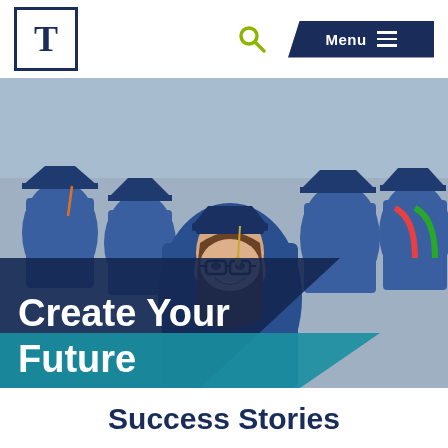T [logo] | Search | Menu
[Figure (photo): A smiling female graduate wearing blue mortarboard cap and blue graduation gown, surrounded by other graduates in blue caps and gowns at a commencement ceremony. The image has a dark navy diagonal banner overlay in the lower left with text 'Create Your Future' and a teal diagonal shape beneath it.]
Create Your Future
Success Stories